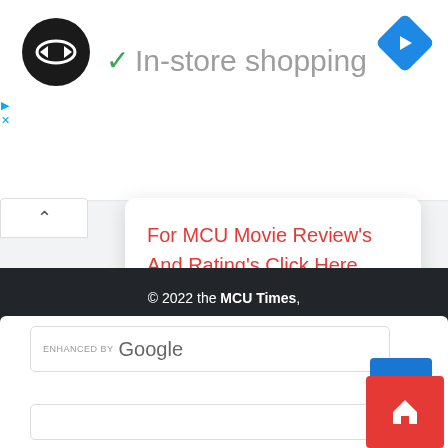[Figure (logo): Black circle logo with white double arrow / loop symbol]
[Figure (logo): Blue diamond navigation arrow icon (Google Maps style)]
✓ In-store shopping
For MCU Movie Review's And Rating's Click Here
© 2022 the MCU Times,
[Figure (screenshot): ENHANCED BY Google search box with input field]
[Figure (logo): Home button - blue and red stacked squares with house icon]